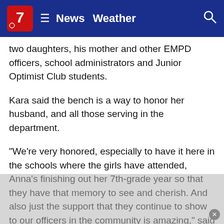7 News  Weather
two daughters, his mother and other EMPD officers, school administrators and Junior Optimist Club students.
Kara said the bench is a way to honor her husband, and all those serving in the department.
"We're very honored, especially to have it here in the schools where the girls have attended, Anna's finishing out her 7th-grade year so that they have that memory to see and cherish. And also just the support that they continue to show to our officers in the community is amazing," said Kara.
"To show that Officer Weiland and his family and all of our officers are meaningful to us and important to us," said Alexia Kirschling, the advisor of the Junior Optimist Club at D.C. Everest Middle School.